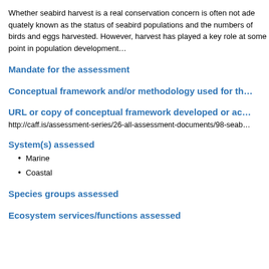Whether seabird harvest is a real conservation concern is often not ade... the status of seabird populations and the numbers of birds and eggs ha... harvest has played a key role at some point in population development...
Mandate for the assessment
Conceptual framework and/or methodology used for th...
URL or copy of conceptual framework developed or ac...
http://caff.is/assessment-series/26-all-assessment-documents/98-seab...
System(s) assessed
Marine
Coastal
Species groups assessed
Ecosystem services/functions assessed